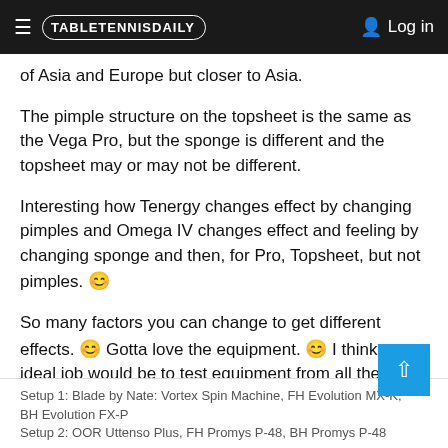TABLETENNISDAILY   Log in
of Asia and Europe but closer to Asia.
The pimple structure on the topsheet is the same as the Vega Pro, but the sponge is different and the topsheet may or may not be different.
Interesting how Tenergy changes effect by changing pimples and Omega IV changes effect and feeling by changing sponge and then, for Pro, Topsheet, but not pimples. 😊
So many factors you can change to get different effects. 😊 Gotta love the equipment. 😊 I think my ideal job would be to test equipment from all the companies all day long. Okay, my ideal second job. I love teaching yoga. 😊
Setup 1: Blade by Nate: Vortex Spin Machine, FH Evolution MX-K, BH Evolution FX-P